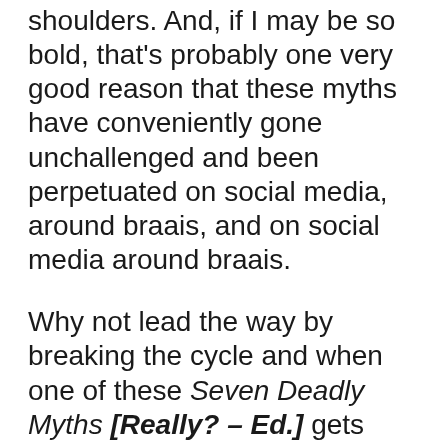shoulders. And, if I may be so bold, that's probably one very good reason that these myths have conveniently gone unchallenged and been perpetuated on social media, around braais, and on social media around braais.
Why not lead the way by breaking the cycle and when one of these Seven Deadly Myths [Really? – Ed.] gets quoted in your presence, give them a friendly nudge or punch in the face and tell them the truth?
It's ever so liberating.